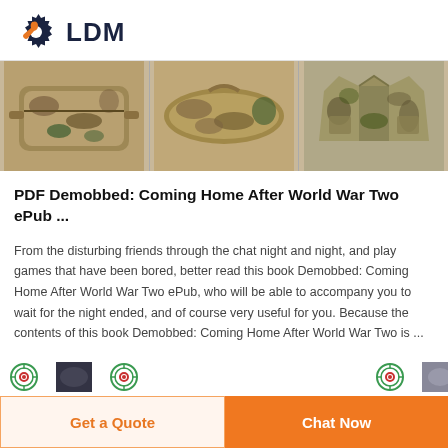LDM
[Figure (photo): Three product images showing military/tactical gear items: a camo waist bag, a camo rifle bag, and a camo jacket, displayed side by side.]
PDF Demobbed: Coming Home After World War Two ePub ...
From the disturbing friends through the chat night and night, and play games that have been bored, better read this book Demobbed: Coming Home After World War Two ePub, who will be able to accompany you to wait for the night ended, and of course very useful for you. Because the contents of this book Demobbed: Coming Home After World War Two is ...
[Figure (photo): Row of small product thumbnails with target/crosshair icons and product images at the bottom of the page.]
Get a Quote | Chat Now